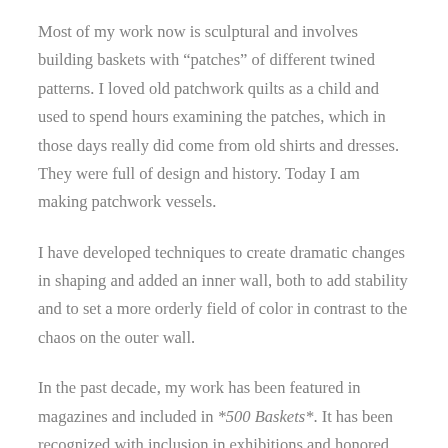Most of my work now is sculptural and involves building baskets with “patches” of different twined patterns. I loved old patchwork quilts as a child and used to spend hours examining the patches, which in those days really did come from old shirts and dresses. They were full of design and history. Today I am making patchwork vessels.
I have developed techniques to create dramatic changes in shaping and added an inner wall, both to add stability and to set a more orderly field of color in contrast to the chaos on the outer wall.
In the past decade, my work has been featured in magazines and included in *500 Baskets*. It has been recognized with inclusion in exhibitions and honored with a variety of awards. I am grateful.